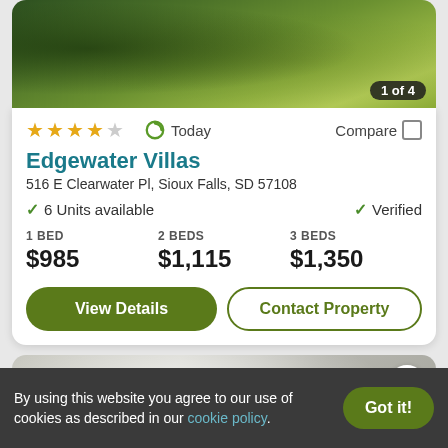[Figure (photo): Aerial view of green trees/vegetation (top property photo)]
1 of 4
★★★★☆  Today  Compare
Edgewater Villas
516 E Clearwater Pl, Sioux Falls, SD 57108
✓ 6 Units available    ✓ Verified
1 BED $985   2 BEDS $1,115   3 BEDS $1,350
View Details   Contact Property
[Figure (photo): Interior room photo (white walls, ceiling lights)]
By using this website you agree to our use of cookies as described in our cookie policy.